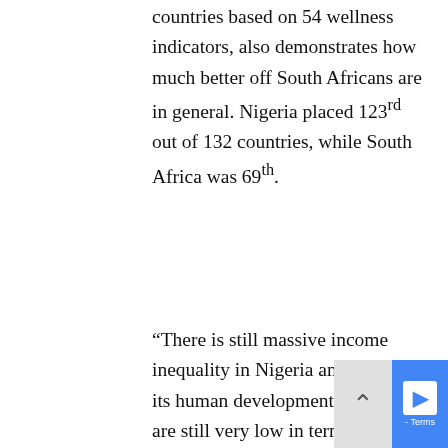countries based on 54 wellness indicators, also demonstrates how much better off South Africans are in general. Nigeria placed 123rd out of 132 countries, while South Africa was 69th.
“There is still massive income inequality in Nigeria and many of its human development indicators are still very low in terms of healthcare, education, skills development,” says Ramkhelawan-Bhana. “There is still a lot of work to be done in those basic areas.”
But of course there are two sides to the population story.
“Demographically, Nigeria has a higher proportion of younger people than South Africa and is growing at a higher rate,” Vawda says. “Its population is expected to more than